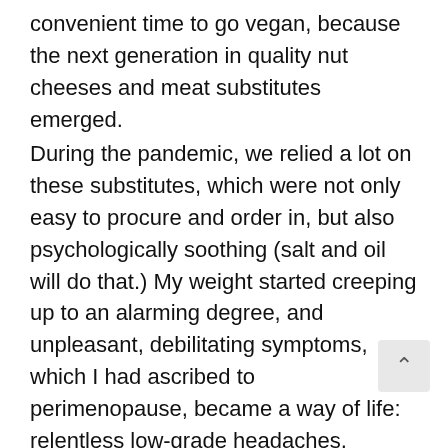convenient time to go vegan, because the next generation in quality nut cheeses and meat substitutes emerged.
During the pandemic, we relied a lot on these substitutes, which were not only easy to procure and order in, but also psychologically soothing (salt and oil will do that.) My weight started creeping up to an alarming degree, and unpleasant, debilitating symptoms, which I had ascribed to perimenopause, became a way of life: relentless low-grade headaches, digestive problems, brain fog. Litigating the San Quentin case and advocating for incarcerated people during the pandemic took an enormous psychological toll, and my health continued to deteriorate. In March 2021 I fell i street and could not get up – to this day I'm n sure if it was cardiac or something else. It was a